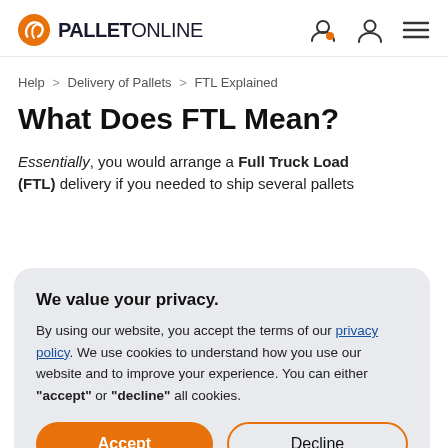PALLETONLINE
Help > Delivery of Pallets > FTL Explained
What Does FTL Mean?
Essentially, you would arrange a Full Truck Load (FTL) delivery if you needed to ship several pallets
We value your privacy.
By using our website, you accept the terms of our privacy policy. We use cookies to understand how you use our website and to improve your experience. You can either "accept" or "decline" all cookies.
Accept  Decline